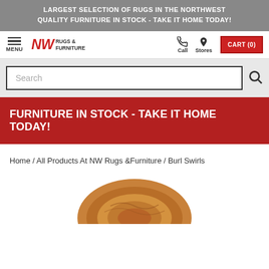LARGEST SELECTION OF RUGS IN THE NORTHWEST
QUALITY FURNITURE IN STOCK - TAKE IT HOME TODAY!
[Figure (logo): NW Rugs & Furniture logo with red bold NW text and navigation bar including MENU, Call, Stores icons and CART (0) button]
[Figure (screenshot): Search bar input field with placeholder text 'Search' and magnifying glass icon]
FURNITURE IN STOCK - TAKE IT HOME TODAY!
Home / All Products At NW Rugs &Furniture / Burl Swirls
[Figure (photo): Partial view of a Burl Swirls product - appears to be a round wooden table or decorative piece with swirling wood grain pattern in brown/orange tones]